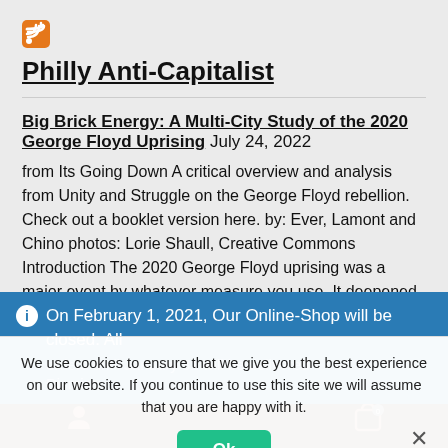[Figure (logo): RSS feed icon - orange square with white wifi/rss symbol]
Philly Anti-Capitalist
Big Brick Energy: A Multi-City Study of the 2020 George Floyd Uprising July 24, 2022
from Its Going Down A critical overview and analysis from Unity and Struggle on the George Floyd rebellion. Check out a booklet version here. by: Ever, Lamont and Chino photos: Lorie Shaull, Creative Commons Introduction The 2020 George Floyd uprising was a major event by whatever measure you use. It deepened the
On February 1, 2021, Our Online-Shop will be closed. All orders until January 31 will be delivered
Dismiss
We use cookies to ensure that we give you the best experience on our website. If you continue to use this site we will assume that you are happy with it.